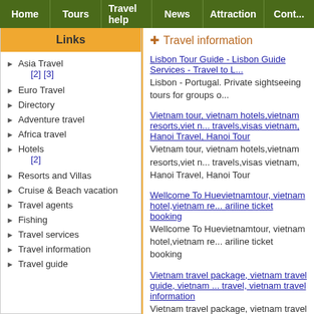Home | Tours | Travel help | News | Attraction | Cont...
Links
Asia Travel [2] [3]
Euro Travel
Directory
Adventure travel
Africa travel
Hotels [2]
Resorts and Villas
Cruise & Beach vacation
Travel agents
Fishing
Travel services
Travel information
Travel guide
Travel information
Lisbon Tour Guide - Lisbon Guide Services - Travel to L... Lisbon - Portugal. Private sightseeing tours for groups o...
Vietnam tour, vietnam hotels,vietnam resorts,viet n... travels,visas vietnam, Hanoi Travel, Hanoi Tour Vietnam tour, vietnam hotels,vietnam resorts,viet n... travels,visas vietnam, Hanoi Travel, Hanoi Tour
Wellcome To Huevietnamtour, vietnam hotel,vietnam re... ariline ticket booking Wellcome To Huevietnamtour, vietnam hotel,vietnam re... ariline ticket booking
Vietnam travel package, vietnam travel guide, vietnam ... travel, vietnam travel information Vietnam travel package, vietnam travel guide, vietnam ... travel, vietnam travel information
Go Bali Paradise Travel informations in Bali We provide usefull travel information on Tours, hotels, Sanur, Ubud, Candidasa, Lovina, Jimbaran, Tulamben a... diving snorkling and fishing, jet ski, surfing, bunge jump...